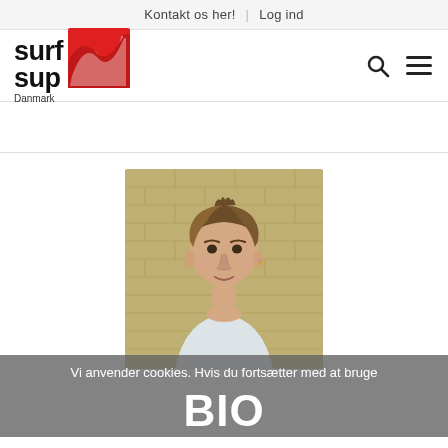Kontakt os her! | Log ind
[Figure (logo): Surf SUP Danmark logo with red wave graphic, search icon and hamburger menu]
[Figure (photo): Portrait photo of a young man with short brown hair, looking slightly to the right, against a brick wall background. Wearing a light colored shirt.]
Vi anvender cookies. Hvis du fortsætter med at bruge
BIO